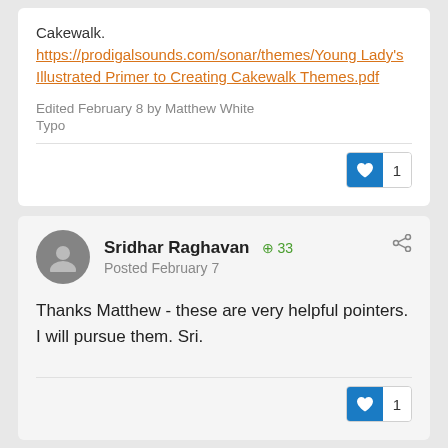Cakewalk. https://prodigalsounds.com/sonar/themes/Young Lady's Illustrated Primer to Creating Cakewalk Themes.pdf
Edited February 8 by Matthew White
Typo
Sridhar Raghavan +33 Posted February 7
Thanks Matthew - these are very helpful pointers. I will pursue them. Sri.